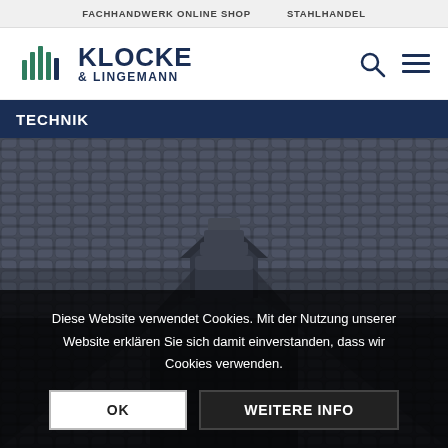FACHHANDWERK ONLINE SHOP   STAHLHANDEL
[Figure (logo): Klocke & Lingemann logo with vertical bar graphic icon in dark blue/green]
TECHNIK
[Figure (photo): Close-up photograph of dark grey roofing tiles with a roof ridge/hip detail in the center]
Diese Website verwendet Cookies. Mit der Nutzung unserer Website erklären Sie sich damit einverstanden, dass wir Cookies verwenden.
OK   WEITERE INFO